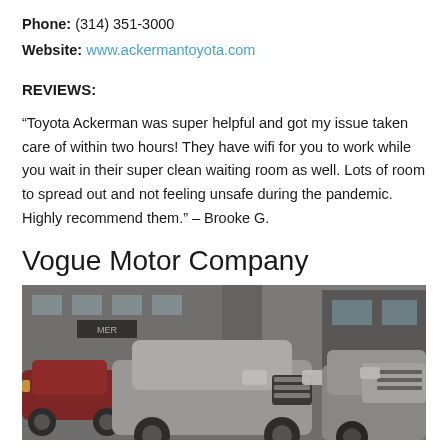Phone: (314) 351-3000
Website: www.ackermantoyota.com
REVIEWS:
“Toyota Ackerman was super helpful and got my issue taken care of within two hours! They have wifi for you to work while you wait in their super clean waiting room as well. Lots of room to spread out and not feeling unsafe during the pandemic. Highly recommend them.” – Brooke G.
Vogue Motor Company
[Figure (photo): A row of cars parked at a dealership lot, showing the fronts of multiple vehicles including a red car and silver/grey cars, with a dealership building visible in the background.]